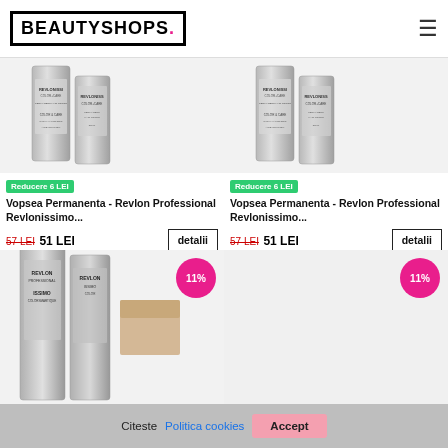BEAUTYSHOPS.
[Figure (photo): Revlon Professional Revlonissimo hair color product tubes, two gray/silver tubes]
Reducere 6 LEI
Vopsea Permanenta - Revlon Professional Revlonissimo...
57 LEI  51 LEI
[Figure (photo): Revlon Professional Revlonissimo hair color product tubes, two gray/silver tubes]
Reducere 6 LEI
Vopsea Permanenta - Revlon Professional Revlonissimo...
57 LEI  51 LEI
[Figure (photo): Revlon Professional Revlonissimo Color & Care hair color tubes with color swatch, 11% discount badge]
[Figure (photo): Product image partially visible, 11% discount badge]
Citeste Politica cookies  Accept